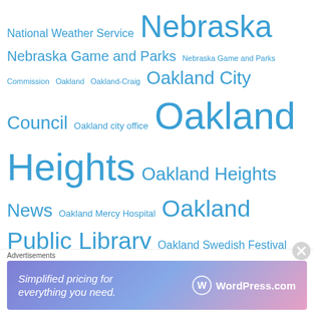National Weather Service Nebraska Nebraska Game and Parks Nebraska Game and Parks Commission Oakland Oakland-Craig Oakland City Council Oakland city office Oakland Heights Oakland Heights News Oakland Mercy Hospital Oakland Public Library Oakland Swedish Festival Pelan Funeral Services Pelan Funeral Services Lyons Pelan Funeral Services Oakland Pelan Funeral Services Tekamah Pender
Advertisements
[Figure (other): WordPress.com advertisement banner: 'Simplified pricing for everything you need.' with WordPress.com logo]